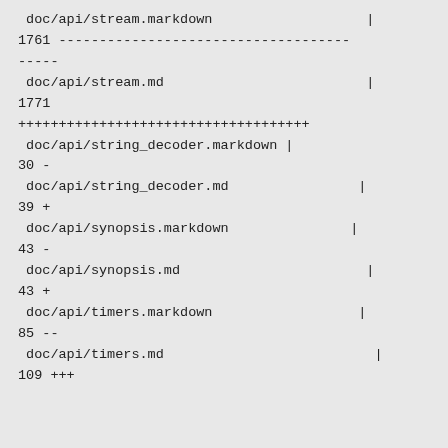doc/api/stream.markdown                   |
1761 ------------------------------------
-----
 doc/api/stream.md                         |
1771
++++++++++++++++++++++++++++++++++++
 doc/api/string_decoder.markdown |
30 -
 doc/api/string_decoder.md                |
39 +
 doc/api/synopsis.markdown               |
43 -
 doc/api/synopsis.md                       |
43 +
 doc/api/timers.markdown                  |
85 --
 doc/api/timers.md                          |
109 +++